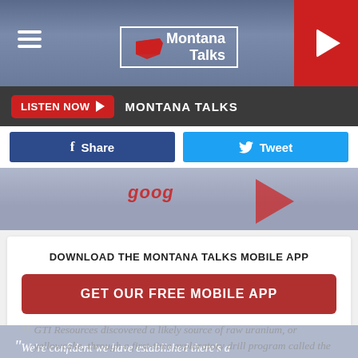[Figure (screenshot): Montana Talks website header with logo, hamburger menu, red play button]
LISTEN NOW ▶   MONTANA TALKS
Share   Tweet
[Figure (screenshot): Partial image with red arrow overlay]
DOWNLOAD THE MONTANA TALKS MOBILE APP
GET OUR FREE MOBILE APP
GTI Resources discovered a likely source of raw uranium, or yellowcake, through a first-time exploratory drill program called the "Thor" project in the
Also listen on:   [Siri]   amazon alexa
Resources director.
"We're confident we have established there's a